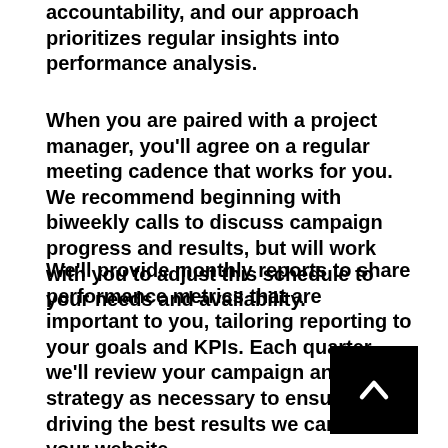accountability, and our approach prioritizes regular insights into performance analysis.
When you are paired with a project manager, you’ll agree on a regular meeting cadence that works for you. We recommend beginning with biweekly calls to discuss campaign progress and results, but will work with you to adjust this schedule to your needs and availability.
We’ll provide monthly reports to share performance metrics that are important to you, tailoring reporting to your goals and KPIs. Each quarter, we’ll review your campaign and pivot strategy as necessary to ensure we’re driving the best results we can for your website.
[Figure (other): Black square button with a white upward-pointing chevron arrow, positioned in the bottom right corner]